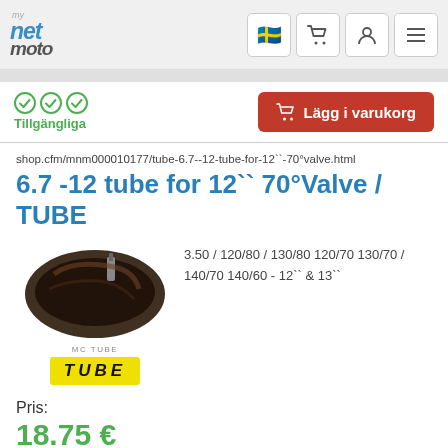[Figure (logo): myNetMoto logo with stylized text and motorcycle icon]
shop.cfm/mnm000010177/tube-6.7--12-tube-for-12``-70°valve.html
6.7 -12 tube for 12`` 70°Valve / TUBE
[Figure (photo): Black rubber inner tube / MC TUBE product image with yellow TUBE logo badge]
3.50 / 120/80 / 130/80 120/70 130/70 / 140/70 140/60 - 12`` & 13``
Pris:
18.75 €
(incl. Moms exkl. frakt)